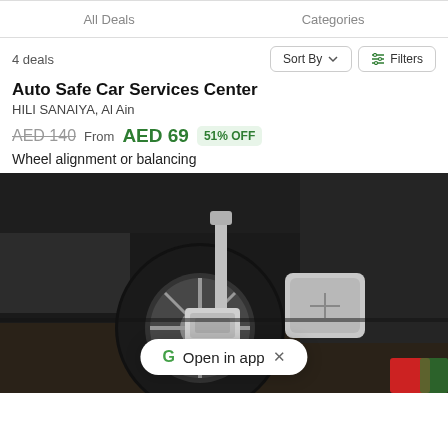All Deals | Categories
4 deals
Sort By   Filters
Auto Safe Car Services Center
HILI SANAIYA, Al Ain
AED 140  From  AED 69  51% OFF
Wheel alignment or balancing
[Figure (photo): Photo of a car wheel being aligned on a lift with wheel alignment equipment attached to the rim, garage environment, dark background.]
G  Open in app  ×